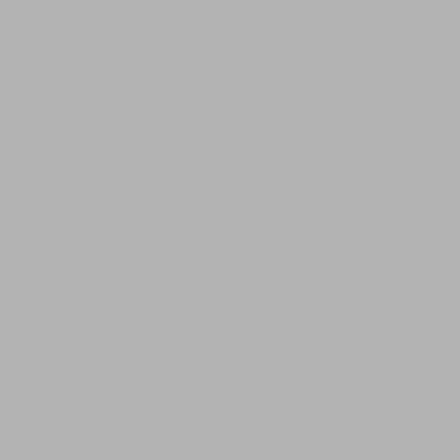12 replies | 395 view(s)
[Figure (illustration): Gold badge/medal icon for user M-Tecs]
M-Tecs replied to shooting...
Nice link
‣see more
10 replies | 350 view(s)
[Figure (illustration): Gold badge/medal icon for user M-Tecs]
M-Tecs replied to Barrels... Projects...
Thanks fo... side note... today's C... compared... said time... been the... don't hav...